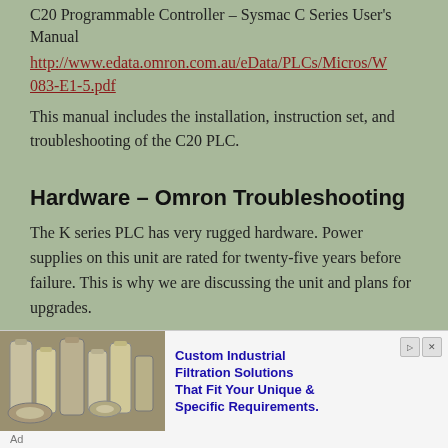C20 Programmable Controller – Sysmac C Series User's Manual
http://www.edata.omron.com.au/eData/PLCs/Micros/W083-E1-5.pdf
This manual includes the installation, instruction set, and troubleshooting of the C20 PLC.
Hardware – Omron Troubleshooting
The K series PLC has very rugged hardware. Power supplies on this unit are rated for twenty-five years before failure. This is why we are discussing the unit and plans for upgrades.
[Figure (photo): Advertisement showing industrial filtration cylinders and filters with text 'Custom Industrial Filtration Solutions That Fit Your Unique & Specific Requirements.']
Ad